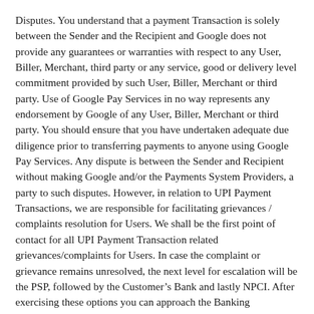Disputes. You understand that a payment Transaction is solely between the Sender and the Recipient and Google does not provide any guarantees or warranties with respect to any User, Biller, Merchant, third party or any service, good or delivery level commitment provided by such User, Biller, Merchant or third party. Use of Google Pay Services in no way represents any endorsement by Google of any User, Biller, Merchant or third party. You should ensure that you have undertaken adequate due diligence prior to transferring payments to anyone using Google Pay Services. Any dispute is between the Sender and Recipient without making Google and/or the Payments System Providers, a party to such disputes. However, in relation to UPI Payment Transactions, we are responsible for facilitating grievances / complaints resolution for Users. We shall be the first point of contact for all UPI Payment Transaction related grievances/complaints for Users. In case the complaint or grievance remains unresolved, the next level for escalation will be the PSP, followed by the Customer's Bank and lastly NPCI. After exercising these options you can approach the Banking Ombudsman and or the Ombudsman for Digital Complaints, as the case may be.
In addition, if you choose to use your BHIM UPI or Credit Card credentials created through Google Pay to send payments to a